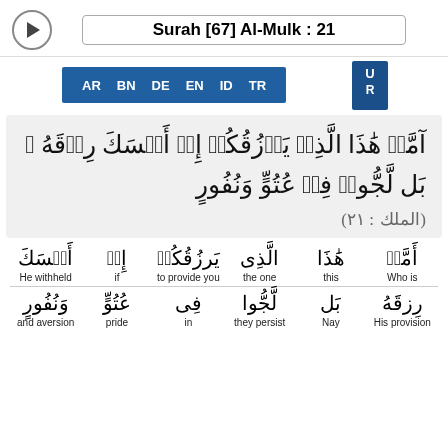Surah [67] Al-Mulk : 21
AR BN DE EN ID TR U
Arabic verse: Surah Al-Mulk 67:21 (full Arabic text with diacritics)
Word-by-word: أَمَّنْ - Who is | هَٰذَا - this | الَّذِى - the one | يَرزُقُكُمْ - to provide you | إِنْ - if | أَمْسَكَ - He withheld
رِزْقَهُ - His provision | بَل - Nay | لَّجُّوا - they persist | فِى - in | عَتُوّ - pride | وَنُفُور - and aversion